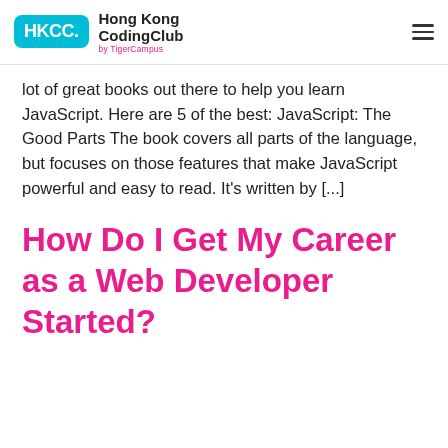HKCC. Hong Kong CodingClub by TigerCampus
lot of great books out there to help you learn JavaScript. Here are 5 of the best: JavaScript: The Good Parts The book covers all parts of the language, but focuses on those features that make JavaScript powerful and easy to read. It's written by [...]
How Do I Get My Career as a Web Developer Started?